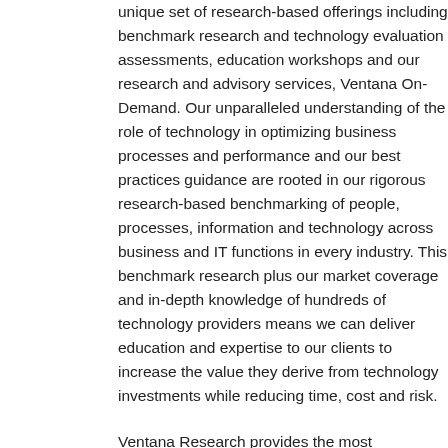unique set of research-based offerings including benchmark research and technology evaluation assessments, education workshops and our research and advisory services, Ventana On-Demand. Our unparalleled understanding of the role of technology in optimizing business processes and performance and our best practices guidance are rooted in our rigorous research-based benchmarking of people, processes, information and technology across business and IT functions in every industry. This benchmark research plus our market coverage and in-depth knowledge of hundreds of technology providers means we can deliver education and expertise to our clients to increase the value they derive from technology investments while reducing time, cost and risk.
Ventana Research provides the most comprehensive analyst and research coverage in the industry;